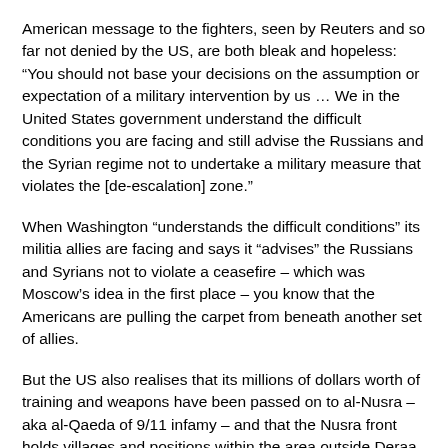American message to the fighters, seen by Reuters and so far not denied by the US, are both bleak and hopeless: “You should not base your decisions on the assumption or expectation of a military intervention by us … We in the United States government understand the difficult conditions you are facing and still advise the Russians and the Syrian regime not to undertake a military measure that violates the [de-escalation] zone.”
When Washington “understands the difficult conditions” its militia allies are facing and says it “advises” the Russians and Syrians not to violate a ceasefire – which was Moscow’s idea in the first place – you know that the Americans are pulling the carpet from beneath another set of allies.
But the US also realises that its millions of dollars worth of training and weapons have been passed on to al-Nusra – aka al-Qaeda of 9/11 infamy – and that the Nusra front holds villages and positions within the area outside Deraa nominally held by those well-known “moderates” of the FSA (whose mythical strength, you may remember, was once put at 70,000 by one David Cameron).